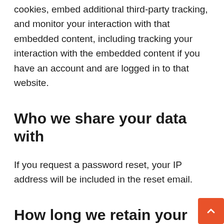cookies, embed additional third-party tracking, and monitor your interaction with that embedded content, including tracking your interaction with the embedded content if you have an account and are logged in to that website.
Who we share your data with
If you request a password reset, your IP address will be included in the reset email.
How long we retain your data
If you leave a comment, the comment and its metadata are retained indefinitely. This is so we